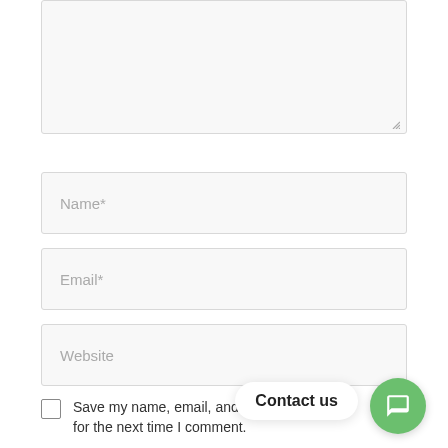[Figure (screenshot): Textarea input field (empty, with resize handle at bottom right)]
Name*
Email*
Website
Save my name, email, and o for the next time I comment.
Contact us